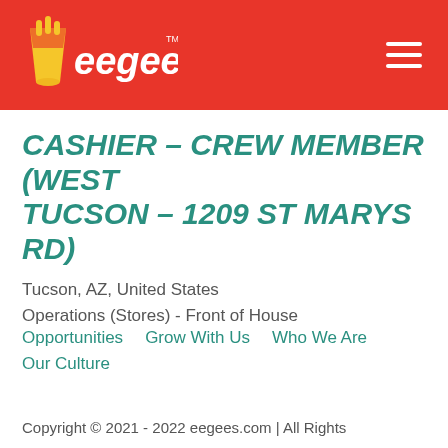[Figure (logo): eegee's logo with fries cup icon on red header background]
CASHIER – CREW MEMBER (WEST TUCSON – 1209 ST MARYS RD)
Tucson, AZ, United States
Operations (Stores) - Front of House
Opportunities   Grow With Us   Who We Are   Our Culture
Copyright © 2021 - 2022 eegees.com | All Rights